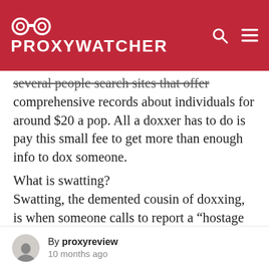PROXY WATCHER
several people search sites that offer comprehensive records about individuals for around $20 a pop. All a doxxer has to do is pay this small fee to get more than enough info to dox someone.
What is swatting?
Swatting, the demented cousin of doxxing, is when someone calls to report a “hostage situation” at their victim’s address. Then, when a SWAT team rushes in, people at the address are caught completely off-guard and are often
By proxyreview
10 months ago